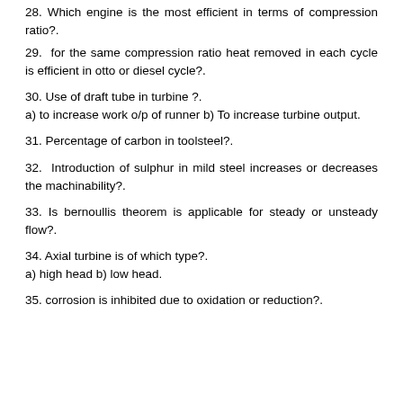28. Which engine is the most efficient in terms of compression ratio?.
29. for the same compression ratio heat removed in each cycle is efficient in otto or diesel cycle?.
30. Use of draft tube in turbine ?.
a) to increase work o/p of runner b) To increase turbine output.
31. Percentage of carbon in toolsteel?.
32. Introduction of sulphur in mild steel increases or decreases the machinability?.
33. Is bernoullis theorem is applicable for steady or unsteady flow?.
34. Axial turbine is of which type?.
a) high head b) low head.
35. corrosion is inhibited due to oxidation or reduction?.